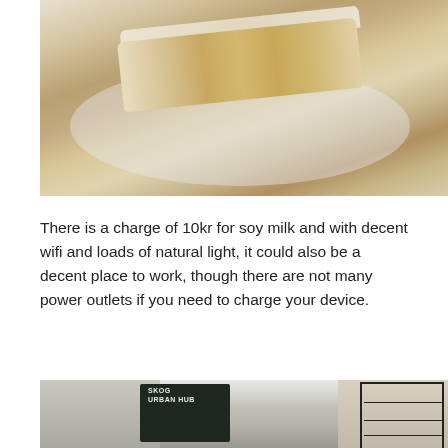[Figure (photo): Close-up photo of a slice of layered cake or pastry with white cream/coconut topping on a white plate, viewed from above at an angle.]
There is a charge of 10kr for soy milk and with decent wifi and loads of natural light, it could also be a decent place to work, though there are not many power outlets if you need to charge your device.
[Figure (photo): Interior photo of SKOG Urban Hub cafe showing a white brick wall with a large chalkboard menu sign, archways, and a shelving unit on the right stocked with bottles and products.]